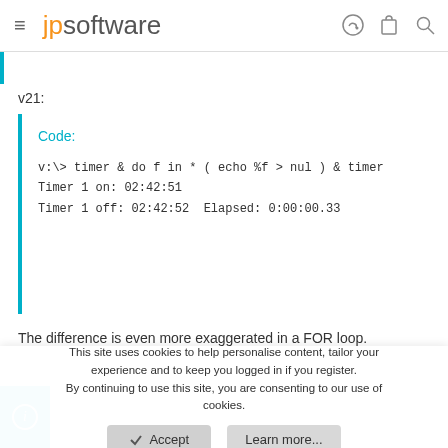jpsoftware
v21:
Code:
v:\> timer & do f in * ( echo %f > nul ) & timer
Timer 1 on: 02:42:51
Timer 1 off: 02:42:52  Elapsed: 0:00:00.33
The difference is even more exaggerated in a FOR loop.
This site uses cookies to help personalise content, tailor your experience and to keep you logged in if you register.
By continuing to use this site, you are consenting to our use of cookies.